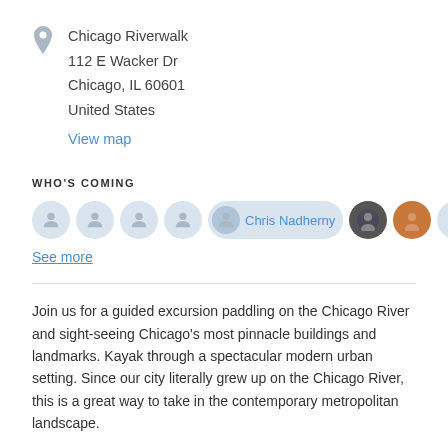Chicago Riverwalk
112 E Wacker Dr
Chicago, IL 60601
United States
View map
WHO'S COMING
[Figure (other): Row of attendee avatars including Chris Nadherny and other profile photos]
See more
Join us for a guided excursion paddling on the Chicago River and sight-seeing Chicago's most pinnacle buildings and landmarks. Kayak through a spectacular modern urban setting. Since our city literally grew up on the Chicago River, this is a great way to take in the contemporary metropolitan landscape.
The event is open to everyone, expert kayakers and beginners. There will be a 20-minute pre-paddle session on land, where our guides